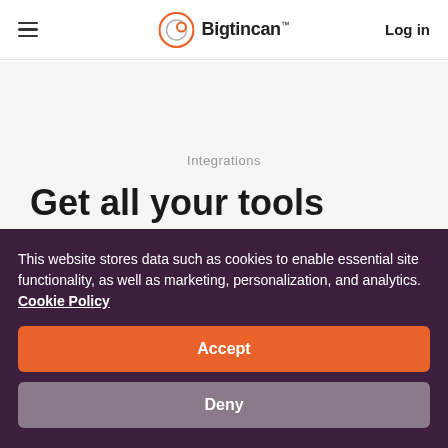Bigtincan — Log in
Integrations
Get all your tools working
This website stores data such as cookies to enable essential site functionality, as well as marketing, personalization, and analytics. Cookie Policy
Accept
Deny